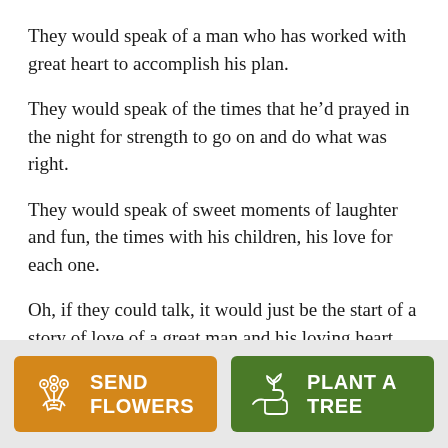They would speak of a man who has worked with great heart to accomplish his plan.
They would speak of the times that he’d prayed in the night for strength to go on and do what was right.
They would speak of sweet moments of laughter and fun, the times with his children, his love for each one.
Oh, if they could talk, it would just be the start of a story of love of a great man and his loving heart.
[Figure (infographic): Two buttons at the bottom: orange 'SEND FLOWERS' button with bouquet icon, and green 'PLANT A TREE' button with seedling/hand icon]
SEND FLOWERS | PLANT A TREE